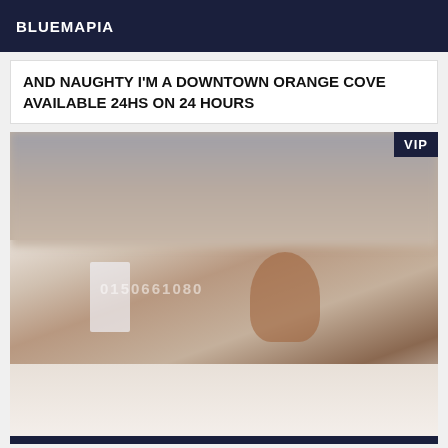BLUEMAPIA
AND NAUGHTY I'M A DOWNTOWN ORANGE COVE AVAILABLE 24HS ON 24 HOURS
[Figure (photo): Photo of a woman posing on a rug with stuffed animals and a stool in the background. Upper portion is blurred. VIP badge in top right corner. Watermark text visible on image.]